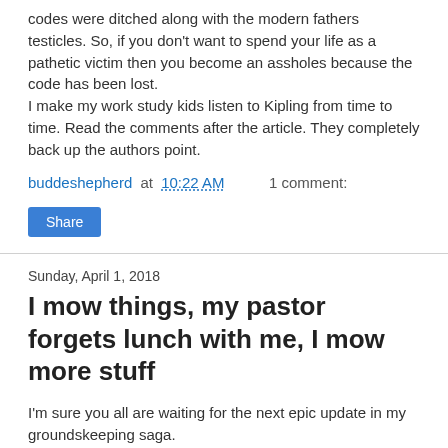codes were ditched along with the modern fathers testicles. So, if you don't want to spend your life as a pathetic victim then you become an assholes because the code has been lost.
I make my work study kids listen to Kipling from time to time. Read the comments after the article. They completely back up the authors point.
buddeshepherd at 10:22 AM    1 comment:
Share
Sunday, April 1, 2018
I mow things, my pastor forgets lunch with me, I mow more stuff
I'm sure you all are waiting for the next epic update in my groundskeeping saga.
First of all, the outside of the baseball field did not actually die. It just remains a slightly different color.
Wednesday I mowed the practice field. This is around ten